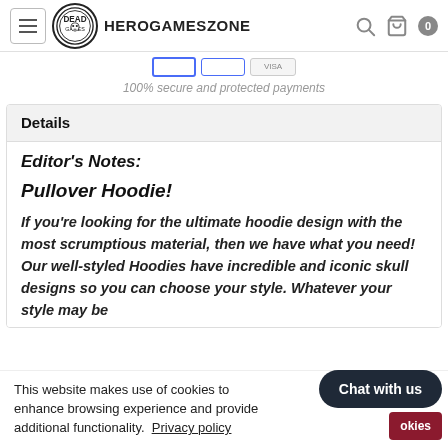HeroGamesZone
100% secure and protected payments
Details
Editor's Notes:

Pullover Hoodie!

If you're looking for the ultimate hoodie design with the most scrumptious material, then we have what you need! Our well-styled Hoodies have incredible and iconic skull designs so you can choose your style. Whatever your style may be
This website makes use of cookies to enhance browsing experience and provide additional functionality. Privacy policy
Chat with us
okies